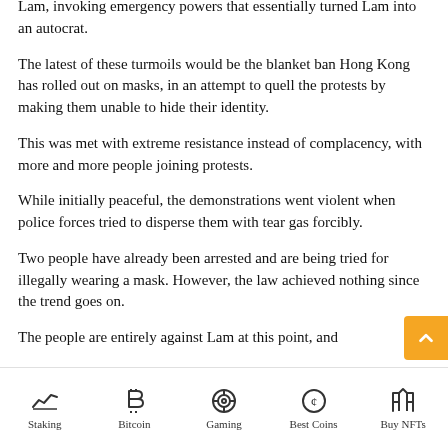Lam, invoking emergency powers that essentially turned Lam into an autocrat.
The latest of these turmoils would be the blanket ban Hong Kong has rolled out on masks, in an attempt to quell the protests by making them unable to hide their identity.
This was met with extreme resistance instead of complacency, with more and more people joining protests.
While initially peaceful, the demonstrations went violent when police forces tried to disperse them with tear gas forcibly.
Two people have already been arrested and are being tried for illegally wearing a mask. However, the law achieved nothing since the trend goes on.
The people are entirely against Lam at this point, and
Staking | Bitcoin | Gaming | Best Coins | Buy NFTs